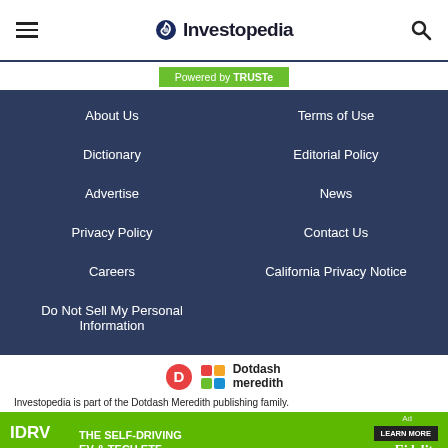Investopedia
[Figure (logo): TRUSTe badge - Powered by TRUSTe green badge]
About Us
Terms of Use
Dictionary
Editorial Policy
Advertise
News
Privacy Policy
Contact Us
Careers
California Privacy Notice
Do Not Sell My Personal Information
[Figure (logo): Dotdash Meredith logo]
Investopedia is part of the Dotdash Meredith publishing family.
[Figure (screenshot): IDRV from iShares advertisement - The Self-Driving EV & Tech ETF - Fidelity - Learn More button]